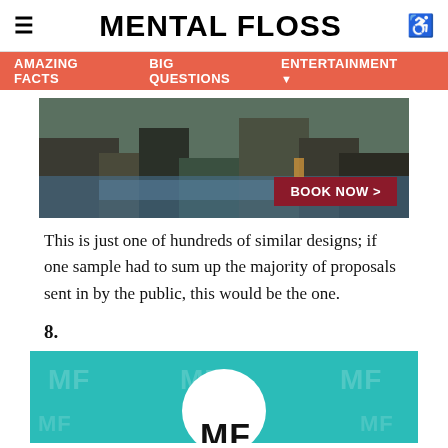MENTAL FLOSS
AMAZING FACTS   BIG QUESTIONS   ENTERTAINMENT
[Figure (photo): Outdoor natural hot springs or river scene with rocks and water; a red 'BOOK NOW >' button overlay in the bottom right corner.]
This is just one of hundreds of similar designs; if one sample had to sum up the majority of proposals sent in by the public, this would be the one.
8.
[Figure (logo): Mental Floss logo mark: teal/turquoise background with repeating 'MF' watermarks; a white circle in center with black 'MF' letters partially visible at bottom.]